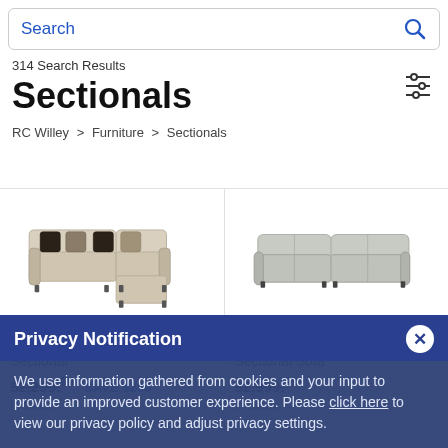Search
314 Search Results
Sectionals
RC Willey > Furniture > Sectionals
[Figure (photo): Griffin 3-Piece L-Shaped Sectional sofa in beige/cream fabric with decorative pillows]
Griffin 3-Piece L-Shaped Sectional
$2,299.99 SAVE $200
In Stock
[Figure (photo): Colbie Light Gray 3 Piece Sectional Sofa in light gray fabric]
Colbie Light Gray 3 Piece Sectional Sofa
$2,999.99
In Stock
Privacy Notification
We use information gathered from cookies and your input to provide an improved customer experience. Please click here to view our privacy policy and adjust privacy settings.